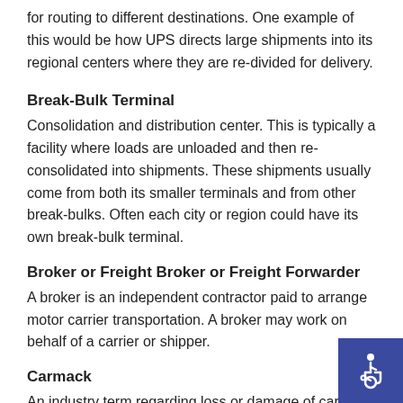for routing to different destinations. One example of this would be how UPS directs large shipments into its regional centers where they are re-divided for delivery.
Break-Bulk Terminal
Consolidation and distribution center. This is typically a facility where loads are unloaded and then re-consolidated into shipments. These shipments usually come from both its smaller terminals and from other break-bulks. Often each city or region could have its own break-bulk terminal.
Broker or Freight Broker or Freight Forwarder
A broker is an independent contractor paid to arrange motor carrier transportation. A broker may work on behalf of a carrier or shipper.
Carmack
An industry term regarding loss or damage of cargo.
[Figure (illustration): Accessibility wheelchair icon in a blue square, bottom-right corner]